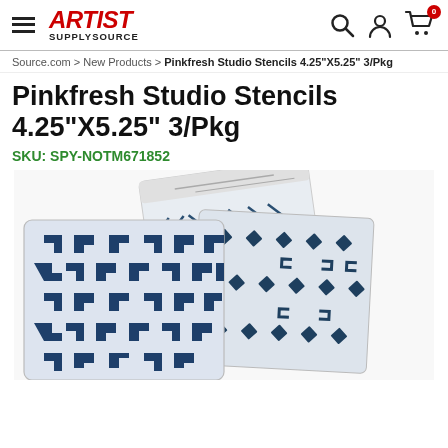ARTIST SUPPLYSOURCE — navigation header with search, account, and cart icons
Source.com > New Products > Pinkfresh Studio Stencils 4.25"X5.25" 3/Pkg
Pinkfresh Studio Stencils 4.25"X5.25" 3/Pkg
SKU: SPY-NOTM671852
[Figure (photo): Product photo of Pinkfresh Studio Stencils 4.25x5.25 inch 3-pack showing three stencil sheets with geometric navy blue patterns on white background — chevron/arrow pattern, diamond grid pattern, and small arrows pattern]